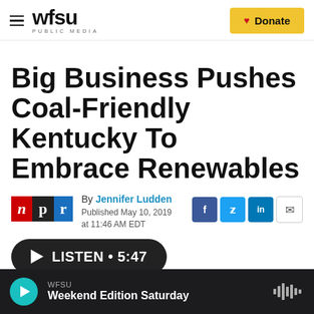wfsu PUBLIC MEDIA | Donate
Big Business Pushes Coal-Friendly Kentucky To Embrace Renewables
By Jennifer Ludden
Published May 10, 2019 at 11:46 AM EDT
[Figure (screenshot): NPR logo, social share buttons (Facebook, Twitter, LinkedIn, Email), and LISTEN 5:47 audio player button]
WFSU
Weekend Edition Saturday